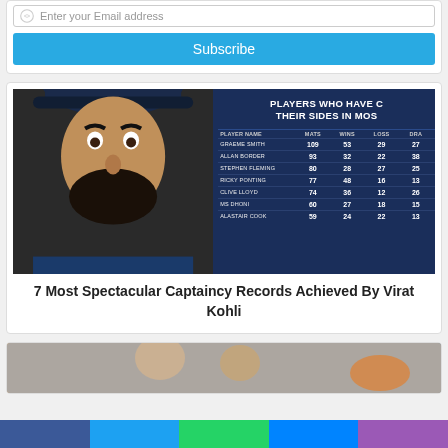Enter your Email address
Subscribe
[Figure (photo): Virat Kohli photo on left with cricket captaincy stats table on right showing players who have captained their sides in most tests: GRAEME SMITH 109 mats 53 wins 29 loss 27 draw; ALLAN BORDER 93 32 22 38; STEPHEN FLEMING 80 28 27 25; RICKY PONTING 77 48 16 13; CLIVE LLOYD 74 36 12 26; MS DHONI 60 27 18 15; ALASTAIR COOK 59 24 22 13]
7 Most Spectacular Captaincy Records Achieved By Virat Kohli
[Figure (photo): Partial photo of person at the bottom, cropped]
Social share bar with Facebook, Twitter, WhatsApp, Messenger, and other share buttons